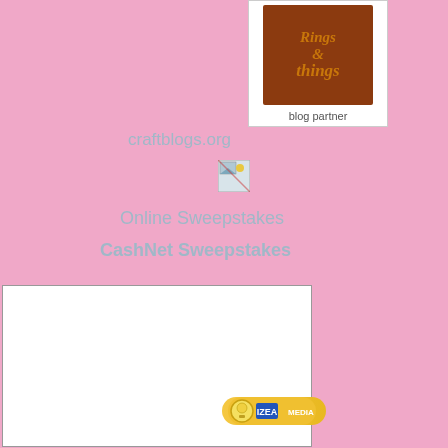[Figure (logo): Rings and Things blog partner badge with ornate brown/gold text logo and 'blog partner' text below]
craftblogs.org
[Figure (illustration): Broken image placeholder icon]
Online Sweepstakes
CashNet Sweepstakes
[Figure (other): Large white content area box]
[Figure (logo): IZEA Media badge with yellow lightbulb and blue/white IZEA MEDIA text]